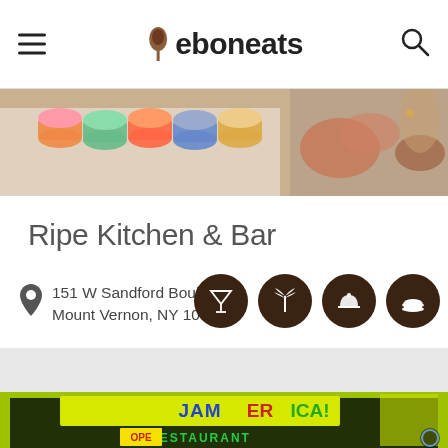eboneats
[Figure (photo): Top banner photo of colorful bowls and food on a table]
Ripe Kitchen & Bar
151 W Sandford Boulevard, Mount Vernon, NY 10550
[Figure (infographic): Four dark brown circular icons: martini glass, palm tree, plate/cloche, and food item]
[Figure (photo): Bottom photo of Jamerica Restaurant storefront with colorful signage showing JAMERICA! and RESTAURANT text, with an OPEN sign visible]